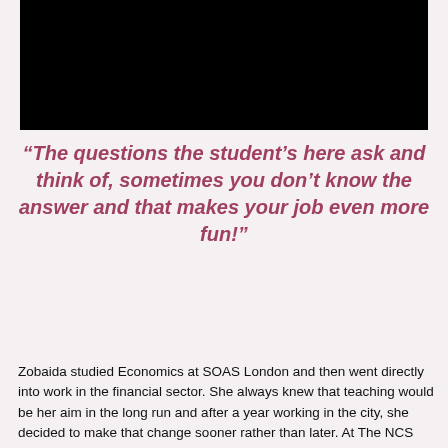[Figure (photo): A black photo/video frame at the top of the page]
“The questions the student’s here ask and think of, sometimes you don’t know the answer and that makes your job even more fun!”
Zobaida studied Economics at SOAS London and then went directly into work in the financial sector. She always knew that teaching would be her aim in the long run and after a year working in the city, she decided to make that change sooner rather than later. At The NCS she has progressed from teaching Maths and Economics from one to two year groups